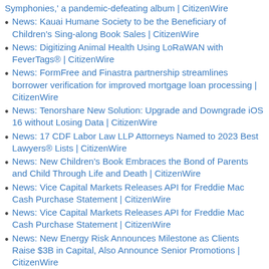Symphonies,' a pandemic-defeating album | CitizenWire
News: Kauai Humane Society to be the Beneficiary of Children's Sing-along Book Sales | CitizenWire
News: Digitizing Animal Health Using LoRaWAN with FeverTags® | CitizenWire
News: FormFree and Finastra partnership streamlines borrower verification for improved mortgage loan processing | CitizenWire
News: Tenorshare New Solution: Upgrade and Downgrade iOS 16 without Losing Data | CitizenWire
News: 17 CDF Labor Law LLP Attorneys Named to 2023 Best Lawyers® Lists | CitizenWire
News: New Children's Book Embraces the Bond of Parents and Child Through Life and Death | CitizenWire
News: Vice Capital Markets Releases API for Freddie Mac Cash Purchase Statement | CitizenWire
News: Vice Capital Markets Releases API for Freddie Mac Cash Purchase Statement | CitizenWire
News: New Energy Risk Announces Milestone as Clients Raise $3B in Capital, Also Announce Senior Promotions | CitizenWire
News: New Energy Risk Announces Milestone as Clients Raise